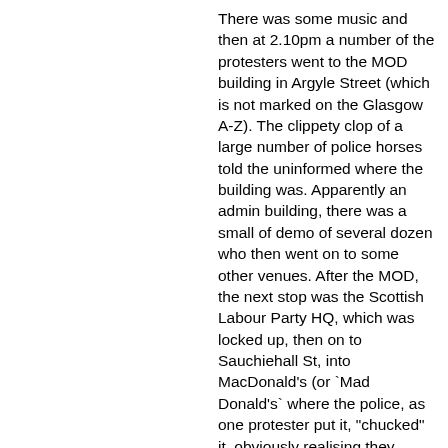There was some music and then at 2.10pm a number of the protesters went to the MOD building in Argyle Street (which is not marked on the Glasgow A-Z). The clippety clop of a large number of police horses told the uninformed where the building was. Apparently an admin building, there was a small of demo of several dozen who then went on to some other venues. After the MOD, the next stop was the Scottish Labour Party HQ, which was locked up, then on to Sauchiehall St, into MacDonald's (or `Mad Donald's` where the police, as one protester put it, "chucked" it, obviously realising they hadn't a clue what the group were doing). Then some promptly moved up to SMG (Scottish Media Group) at Cowcaddens where a few of them were threatened with being locked inside. However there really weren't enough of them to make an impact so after some discussion they headed to the Mono Cafe in King Street for a pint to finish off the day with plans for